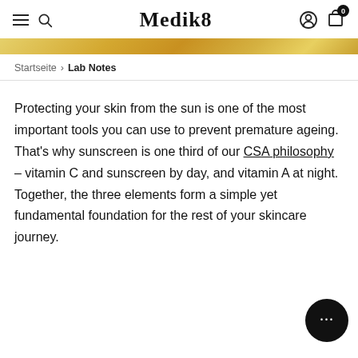Medik8
[Figure (illustration): Gold gradient decorative banner strip]
Startseite > Lab Notes
Protecting your skin from the sun is one of the most important tools you can use to prevent premature ageing. That's why sunscreen is one third of our CSA philosophy – vitamin C and sunscreen by day, and vitamin A at night. Together, the three elements form a simple yet fundamental foundation for the rest of your skincare journey.